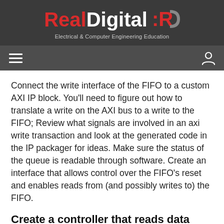RealDigital — Electrical & Computer Engineering Education
Connect the write interface of the FIFO to a custom AXI IP block. You'll need to figure out how to translate a write on the AXI bus to a write to the FIFO; Review what signals are involved in an axi write transaction and look at the generated code in the IP packager for ideas. Make sure the status of the queue is readable through software. Create an interface that allows control over the FIFO's reset and enables reads from (and possibly writes to) the FIFO.
Create a controller that reads data from the FIFO.